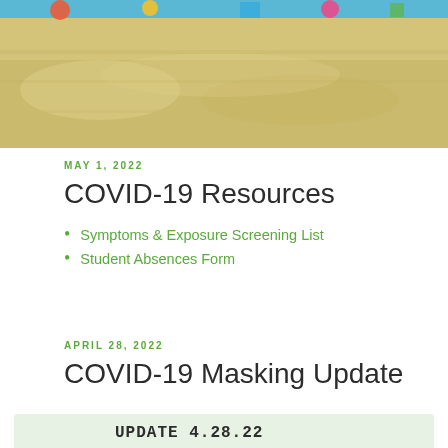[Figure (photo): Beach sand with colorful toys/items partially visible at the top, close-up of sandy beach scene]
MAY 1, 2022
COVID-19 Resources
Symptoms & Exposure Screening List
Student Absences Form
APRIL 28, 2022
COVID-19 Masking Update
UPDATE 4.28.22